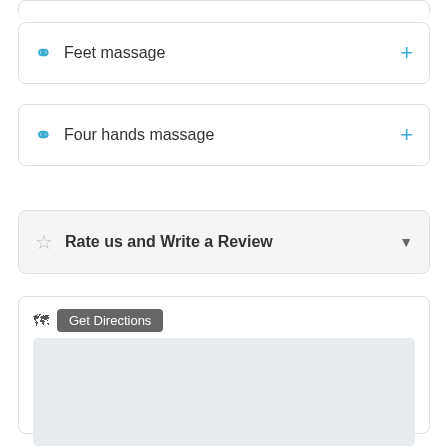Feet massage
Four hands massage
Rate us and Write a Review
Get Directions
English العربية